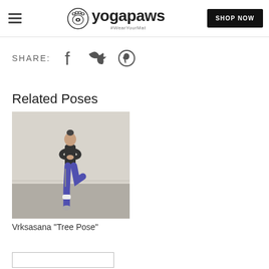yogapaws #WearYourMat | SHOP NOW
SHARE:
Related Poses
[Figure (photo): Woman performing Vrksasana Tree Pose yoga, standing on one leg with other leg raised, hands in prayer position, wearing dark top and purple leggings]
Vrksasana "Tree Pose"